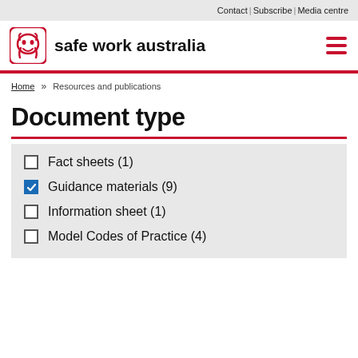Contact | Subscribe | Media centre
[Figure (logo): Safe Work Australia logo with kangaroo icon and bold text 'safe work australia']
Home » Resources and publications
Document type
Fact sheets (1) — unchecked
Guidance materials (9) — checked
Information sheet (1) — unchecked
Model Codes of Practice (4) — unchecked